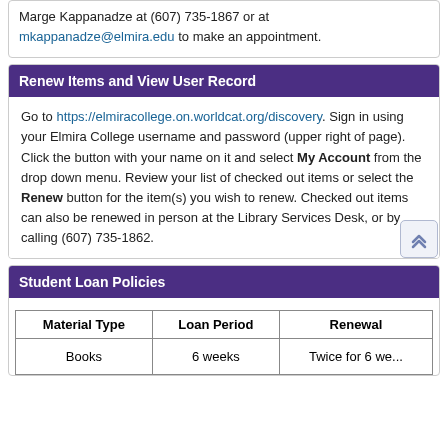Marge Kappanadze at (607) 735-1867 or at mkappanadze@elmira.edu to make an appointment.
Renew Items and View User Record
Go to https://elmiracollege.on.worldcat.org/discovery. Sign in using your Elmira College username and password (upper right of page). Click the button with your name on it and select My Account from the drop down menu. Review your list of checked out items or select the Renew button for the item(s) you wish to renew. Checked out items can also be renewed in person at the Library Services Desk, or by calling (607) 735-1862.
Student Loan Policies
| Material Type | Loan Period | Renewal |
| --- | --- | --- |
| Books | 6 weeks | Twice for 6 we... |